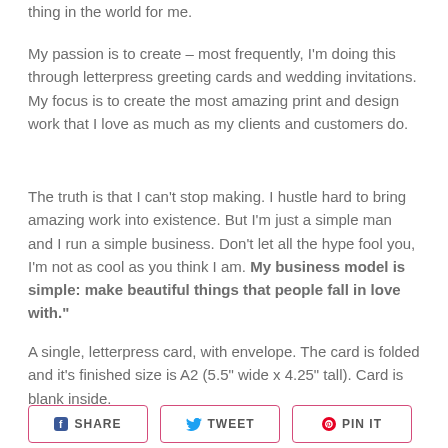thing in the world for me.
My passion is to create – most frequently, I'm doing this through letterpress greeting cards and wedding invitations. My focus is to create the most amazing print and design work that I love as much as my clients and customers do.
The truth is that I can't stop making. I hustle hard to bring amazing work into existence. But I'm just a simple man and I run a simple business. Don't let all the hype fool you, I'm not as cool as you think I am. My business model is simple: make beautiful things that people fall in love with."
A single, letterpress card, with envelope. The card is folded and it's finished size is A2 (5.5" wide x 4.25" tall). Card is blank inside.
[Figure (other): Social sharing buttons: SHARE (Facebook), TWEET (Twitter), PIN IT (Pinterest)]